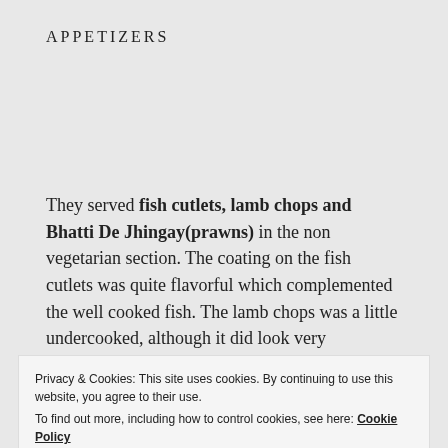APPETIZERS
They served fish cutlets, lamb chops and Bhatti De Jhingay(prawns) in the non vegetarian section. The coating on the fish cutlets was quite flavorful which complemented the well cooked fish. The lamb chops was a little undercooked, although it did look very appetizing 🙂 The prawns were just about average.
Privacy & Cookies: This site uses cookies. By continuing to use this website, you agree to their use.
To find out more, including how to control cookies, see here: Cookie Policy
Close and accept